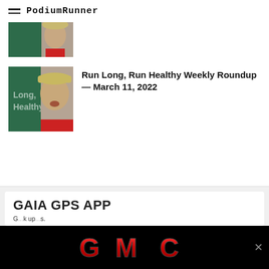PodiumRunner
[Figure (photo): Partial thumbnail image showing a green background with a man's face partially visible, cropped at top of page]
[Figure (photo): Thumbnail image with green background showing text 'Long, Healthy' on left and a man wearing a cap on the right]
Run Long, Run Healthy Weekly Roundup — March 11, 2022
GAIA GPS APP
G...k up...s. A...
[Figure (logo): GMC logo advertisement on black background]